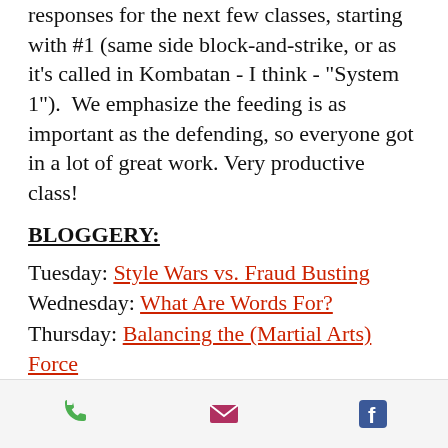responses for the next few classes, starting with #1 (same side block-and-strike, or as it's called in Kombatan - I think - "System 1").  We emphasize the feeding is as important as the defending, so everyone got in a lot of great work. Very productive class!
BLOGGERY:
Tuesday: Style Wars vs. Fraud Busting
Wednesday: What Are Words For?
Thursday: Balancing the (Martial Arts) Force
Come join us on our MeWe page, on
[phone icon] [email icon] [facebook icon]